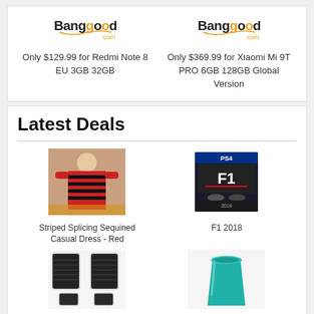[Figure (logo): Banggood.com logo left]
[Figure (logo): Banggood.com logo right]
Only $129.99 for Redmi Note 8 EU 3GB 32GB
Only $369.99 for Xiaomi Mi 9T PRO 6GB 128GB Global Version
Latest Deals
[Figure (photo): Striped Splicing Sequined Casual Dress - Red product photo]
Striped Splicing Sequined Casual Dress - Red
[Figure (photo): F1 2018 PS4 game box cover]
F1 2018
[Figure (photo): Full-Encased Leather car mats product photo]
Full-Encased Leather
[Figure (photo): Teal/turquoise vase or container product photo]